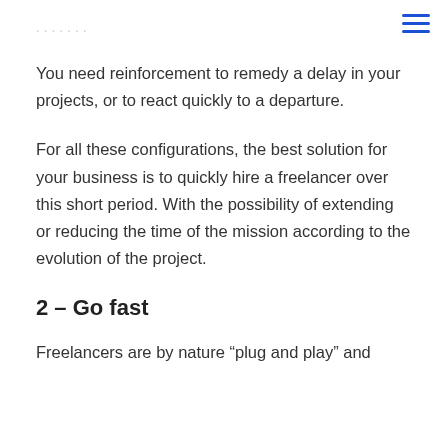You need reinforcement to remedy a delay in your projects, or to react quickly to a departure.
For all these configurations, the best solution for your business is to quickly hire a freelancer over this short period. With the possibility of extending or reducing the time of the mission according to the evolution of the project.
2 – Go fast
Freelancers are by nature “plug and play” and